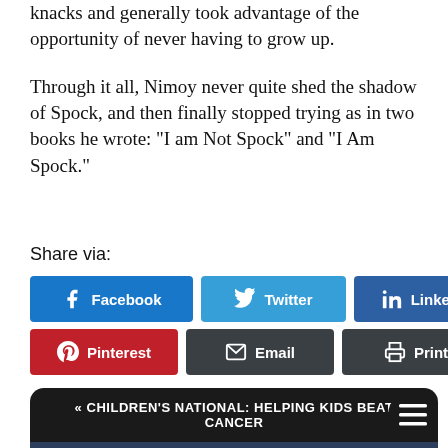knacks and generally took advantage of the opportunity of never having to grow up.
Through it all, Nimoy never quite shed the shadow of Spock, and then finally stopped trying as in two books he wrote: “I am Not Spock” and “I Am Spock.”
Share via:
[Figure (infographic): Social share buttons: Facebook (blue), Twitter (light blue), LinkedIn (dark blue), Pinterest (red), Email (dark), Print (dark), More (light grey)]
« CHILDREN’S NATIONAL: HELPING KIDS BEAT CANCER | WEGMAN AT LOMBARDI SALUTES ARTS